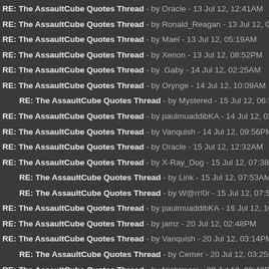RE: The AssaultCube Quotes Thread - by Oracle - 13 Jul 12, 12:41AM
RE: The AssaultCube Quotes Thread - by Ronald_Reagan - 13 Jul 12, 05:11AM
RE: The AssaultCube Quotes Thread - by Mael - 13 Jul 12, 05:19AM
RE: The AssaultCube Quotes Thread - by Xenon - 13 Jul 12, 08:52PM
RE: The AssaultCube Quotes Thread - by .Gaby - 14 Jul 12, 02:25AM
RE: The AssaultCube Quotes Thread - by Orynge - 14 Jul 12, 10:09AM
RE: The AssaultCube Quotes Thread - by Mystered - 15 Jul 12, 06:51PM
RE: The AssaultCube Quotes Thread - by paulmuaddibKA - 14 Jul 12, 03:27PM
RE: The AssaultCube Quotes Thread - by Vanquish - 14 Jul 12, 09:56PM
RE: The AssaultCube Quotes Thread - by Oracle - 15 Jul 12, 12:32AM
RE: The AssaultCube Quotes Thread - by X-Ray_Dog - 15 Jul 12, 07:38AM
RE: The AssaultCube Quotes Thread - by Link - 15 Jul 12, 07:53AM
RE: The AssaultCube Quotes Thread - by W@rr!0r - 15 Jul 12, 07:59AM
RE: The AssaultCube Quotes Thread - by paulmuaddibKA - 16 Jul 12, 10:11PM
RE: The AssaultCube Quotes Thread - by jamz - 20 Jul 12, 02:48PM
RE: The AssaultCube Quotes Thread - by Vanquish - 20 Jul 12, 03:14PM
RE: The AssaultCube Quotes Thread - by Cemer - 20 Jul 12, 03:25PM
RE: The AssaultCube Quotes Thread - by Nightmare - 20 Jul 12, 08:43PM
RE: The AssaultCube Quotes Thread - by paulmuaddibKA - 20 Jul 12, 10:33PM
RE: The AssaultCube Quotes Thread - by Cemer - 21 Jul 12, 12:36AM
RE: The AssaultCube Quotes Thread - by Vanquish - 21 Jul 12, 12:57AM
RE: The AssaultCube Quotes Thread - by hgf-arg - 21 Jul 12, 01:20AM
RE: The AssaultCube Quotes Thread - by Orynge - 21 Jul 12, 04:01AM
RE: The AssaultCube Quotes Thread - by Oracle - 22 Jul 12, 12:54AM
RE: The AssaultCube Quotes Thread - by paulmuaddibKA - 23 Jul 12, 04:00PM